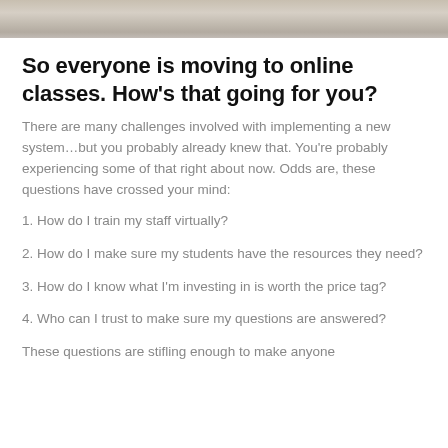[Figure (photo): Partial photo strip at top of page showing a sandy/beachy outdoor scene in muted tones]
So everyone is moving to online classes. How's that going for you?
There are many challenges involved with implementing a new system…but you probably already knew that. You're probably experiencing some of that right about now. Odds are, these questions have crossed your mind:
1. How do I train my staff virtually?
2. How do I make sure my students have the resources they need?
3. How do I know what I'm investing in is worth the price tag?
4. Who can I trust to make sure my questions are answered?
These questions are stifling enough to make anyone